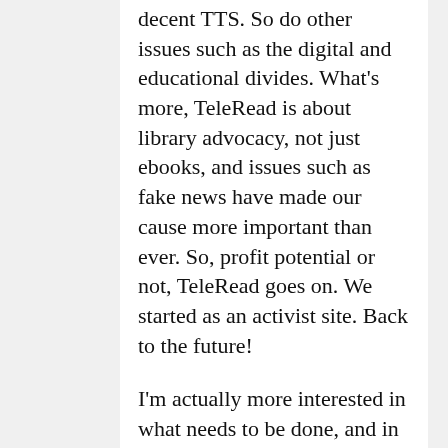decent TTS. So do other issues such as the digital and educational divides. What's more, TeleRead is about library advocacy, not just ebooks, and issues such as fake news have made our cause more important than ever. So, profit potential or not, TeleRead goes on. We started as an activist site. Back to the future!
I'm actually more interested in what needs to be done, and in making it happen, such as boldface on Kindles or a national digital library